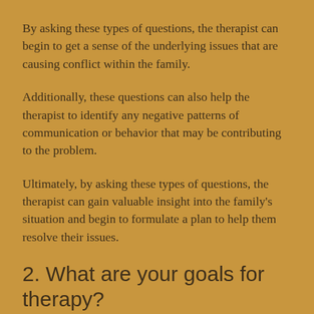By asking these types of questions, the therapist can begin to get a sense of the underlying issues that are causing conflict within the family.
Additionally, these questions can also help the therapist to identify any negative patterns of communication or behavior that may be contributing to the problem.
Ultimately, by asking these types of questions, the therapist can gain valuable insight into the family's situation and begin to formulate a plan to help them resolve their issues.
2. What are your goals for therapy?
Just as with any other type of therapy, family therapy sessions will typically begin with the therapist asking